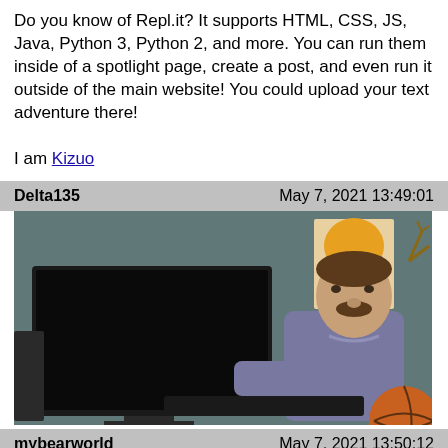Do you know of Repl.it? It supports HTML, CSS, JS, Java, Python 3, Python 2, and more. You can run them inside of a spotlight page, create a post, and even run it outside of the main website! You could upload your text adventure there!

I am Kizuo
Delta135    May 7, 2021 13:49:01
[Figure (photo): Man sitting at a computer desk working, with a large monitor in front of him and a poster on the wall behind]
mybearworld    May 7, 2021 13:50:12